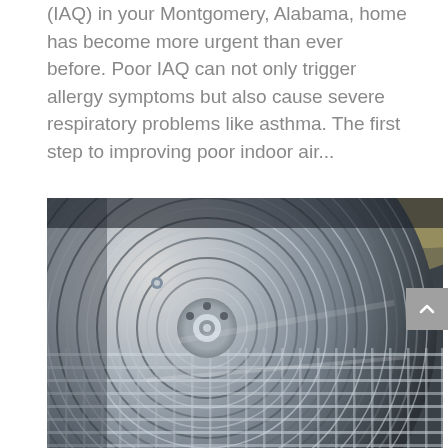(IAQ) in your Montgomery, Alabama, home has become more urgent than ever before. Poor IAQ can not only trigger allergy symptoms but also cause severe respiratory problems like asthma. The first step to improving poor indoor air...
[Figure (photo): Close-up photograph of an HVAC air conditioning unit fan grate, showing circular metal fins and a protective wire grill, in black and white/grey tones.]